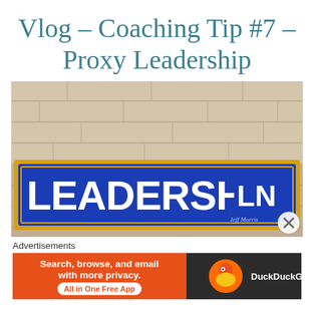Vlog – Coaching Tip #7 – Proxy Leadership
[Figure (photo): A blue street sign reading 'LEADERSHIP LN' mounted on a beige/tan brick wall. The sign has a gold/yellow border on a royal blue background with white bold capital letters. A small signature appears in the lower right of the sign. A circular icon with an X appears in the lower right of the photo.]
Advertisements
[Figure (screenshot): DuckDuckGo advertisement banner. Left orange section reads 'Search, browse, and email with more privacy. All in One Free App'. Right dark section shows the DuckDuckGo logo (duck icon) with 'DuckDuckGo' text.]